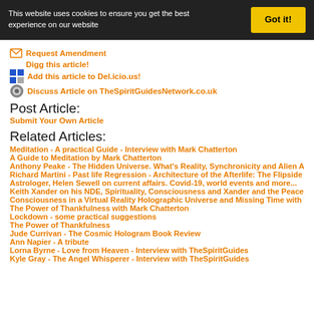This website uses cookies to ensure you get the best experience on our website  Got it!
Request Amendment
Digg this article!
Add this article to Del.icio.us!
Discuss Article on TheSpiritGuidesNetwork.co.uk
Post Article:
Submit Your Own Article
Related Articles:
Meditation - A practical Guide - Interview with Mark Chatterton
A Guide to Meditation by Mark Chatterton
Anthony Peake - The Hidden Universe. What's Reality, Synchronicity and Alien Abdu
Richard Martini - Past life Regression - Architecture of the Afterlife: The Flipside Co
Astrologer, Helen Sewell on current affairs. Covid-19, world events and more...
Keith Xander on his NDE, Spirituality, Consciousness and Xander and the Peace Pira
Consciousness in a Virtual Reality Holographic Universe and Missing Time with Terr
The Power of Thankfulness with Mark Chatterton
Lockdown - some practical suggestions
The Power of Thankfulness
Jude Currivan - The Cosmic Hologram Book Review
Ann Napier - A tribute
Lorna Byrne - Love from Heaven - Interview with TheSpiritGuides
Kyle Gray - The Angel Whisperer - Interview with TheSpiritGuides